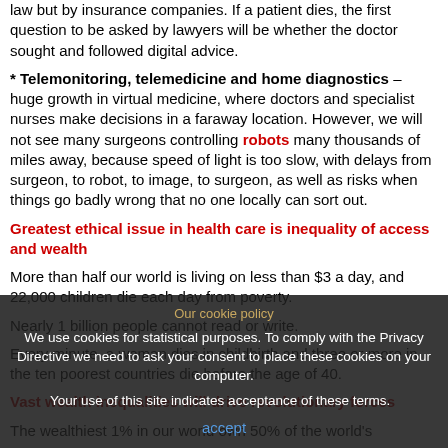law but by insurance companies. If a patient dies, the first question to be asked by lawyers will be whether the doctor sought and followed digital advice.
* Telemonitoring, telemedicine and home diagnostics – huge growth in virtual medicine, where doctors and specialist nurses make decisions in a faraway location. However, we will not see many surgeons controlling robots many thousands of miles away, because speed of light is too slow, with delays from surgeon, to robot, to image, to surgeon, as well as risks when things go badly wrong that no one locally can sort out.
Greatest ethical issue in health care is inequality of access and wealth
More than half our world is living on less than $3 a day, and 22,000 children die each day from poverty.
Nearly 1 billion people cannot read or write.
Every minute, a woman dies in childbirth and three or more in the ten poorest countries die before the age of 40.
Vast wealth inequalities will drive revolutionary forces
The wealthiest 1% in our world own 50% of the world's
Our cookie policy
We use cookies for statistical purposes. To comply with the Privacy Directive we need to ask your consent to place these cookies on your computer.
Your use of this site indicates acceptance of these terms.
accept